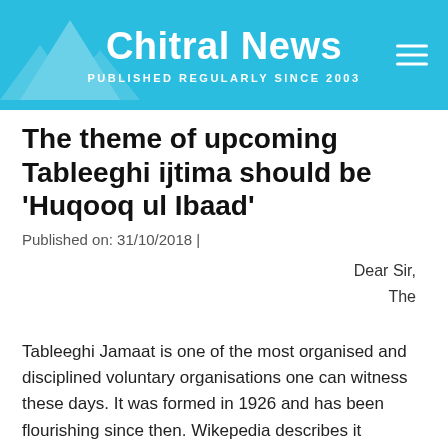Chitral News — PUBLISHED REGULARLY SINCE 2003
The theme of upcoming Tableeghi ijtima should be 'Huqooq ul Ibaad'
Published on: 31/10/2018 |
Dear Sir,
The
Tableeghi Jamaat is one of the most organised and disciplined voluntary organisations one can witness these days. It was formed in 1926 and has been flourishing since then. Wikepedia describes it as?"one of the most influential